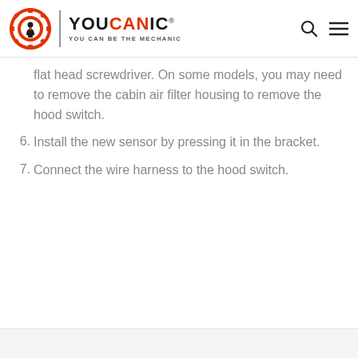YOUCANIC — YOU CAN BE THE MECHANIC
flat head screwdriver. On some models, you may need to remove the cabin air filter housing to remove the hood switch.
6. Install the new sensor by pressing it in the bracket.
7. Connect the wire harness to the hood switch.